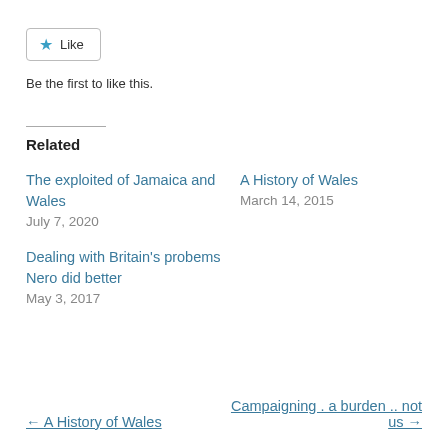[Figure (other): Like button with blue star icon and text 'Like']
Be the first to like this.
Related
The exploited of Jamaica and Wales
July 7, 2020
A History of Wales
March 14, 2015
Dealing with Britain's probems Nero did better
May 3, 2017
← A History of Wales
Campaigning . a burden .. not us →